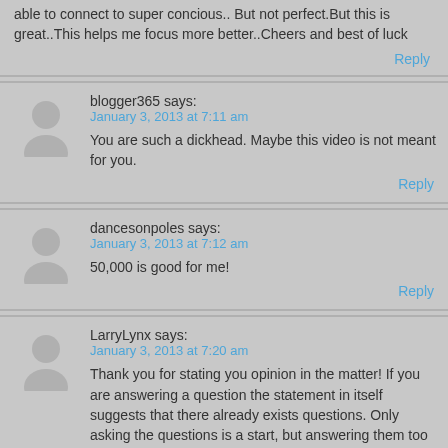able to connect to super concious.. But not perfect.But this is great..This helps me focus more better..Cheers and best of luck
Reply
blogger365 says:
January 3, 2013 at 7:11 am
You are such a dickhead. Maybe this video is not meant for you.
Reply
dancesonpoles says:
January 3, 2013 at 7:12 am
50,000 is good for me!
Reply
LarryLynx says:
January 3, 2013 at 7:20 am
Thank you for stating you opinion in the matter! If you are answering a question the statement in itself suggests that there already exists questions. Only asking the questions is a start, but answering them too makes you really apply your mind no matter if